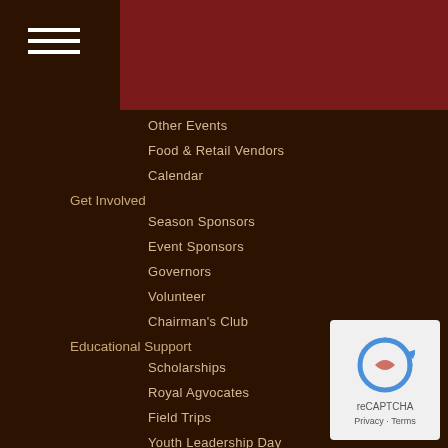[Figure (other): Dark red/maroon header banner across top right of page]
[Figure (other): Hamburger menu icon (three white horizontal lines) in top left]
Other Events
Food & Retail Vendors
Calendar
Get Involved
Season Sponsors
Event Sponsors
Governors
Volunteer
Chairman's Club
Educational Support
Scholarships
Royal Agvocates
Field Trips
Youth Leadership Day
Girl Scouts
About Us
Who We Are
Our New Home
Contact Us
Media
[Figure (logo): reCAPTCHA badge with Privacy and Terms links]